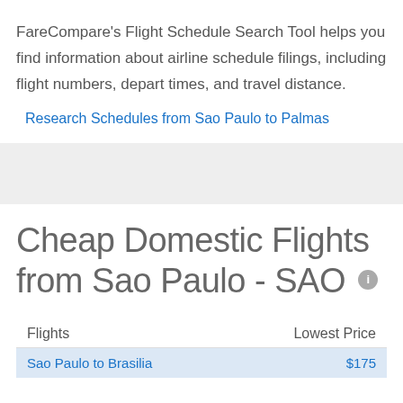FareCompare's Flight Schedule Search Tool helps you find information about airline schedule filings, including flight numbers, depart times, and travel distance.
Research Schedules from Sao Paulo to Palmas
Cheap Domestic Flights from Sao Paulo - SAO
| Flights | Lowest Price |
| --- | --- |
| Sao Paulo to Brasilia | $175 |